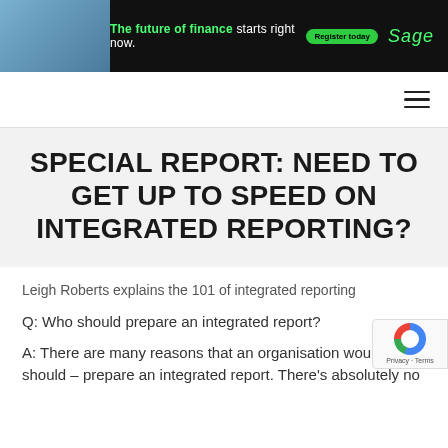[Figure (photo): Sage advertisement banner: photo of people in a meeting on the left, green text 'The future of finance starts right now.' with a green Register today button, and Sage logo in green italic on black background]
SPECIAL REPORT: NEED TO GET UP TO SPEED ON INTEGRATED REPORTING?
Leigh Roberts explains the 101 of integrated reporting
Q: Who should prepare an integrated report?
A: There are many reasons that an organisation would – should – prepare an integrated report. There's absolutely no